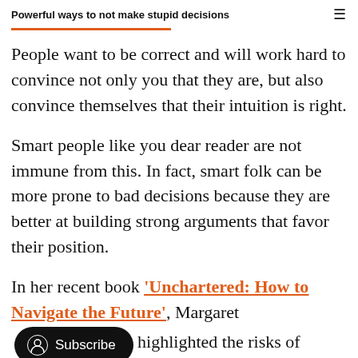Powerful ways to not make stupid decisions
People want to be correct and will work hard to convince not only you that they are, but also convince themselves that their intuition is right.
Smart people like you dear reader are not immune from this. In fact, smart folk can be more prone to bad decisions because they are better at building strong arguments that favor their position.
In her recent book 'Unchartered: How to Navigate the Future', Margaret highlighted the risks of cognitive biases, and